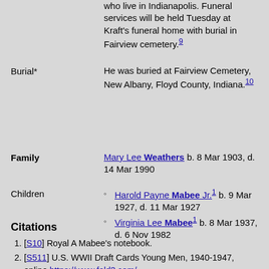who live in Indianapolis. Funeral services will be held Tuesday at Kraft's funeral home with burial in Fairview cemetery.⁹
Burial* — He was buried at Fairview Cemetery, New Albany, Floyd County, Indiana.¹⁰
Family — Mary Lee Weathers b. 8 Mar 1903, d. 14 Mar 1990
Children — Harold Payne Mabee Jr.¹ b. 9 Mar 1927, d. 11 Mar 1927; Virginia Lee Mabee¹ b. 8 Mar 1937, d. 6 Nov 1982
Citations
[S10] Royal A Mabee's notebook.
[S511] U.S. WWII Draft Cards Young Men, 1940-1947, online https://www.fold3.com/ ↗
[S76] 1910 United States Census, online ancestry.com, Washington Twp, Marion, Indiana, Series T624, Roll 366, Part 1, Page 106B.
[S304] 1920 United States Census, online ancestry.com